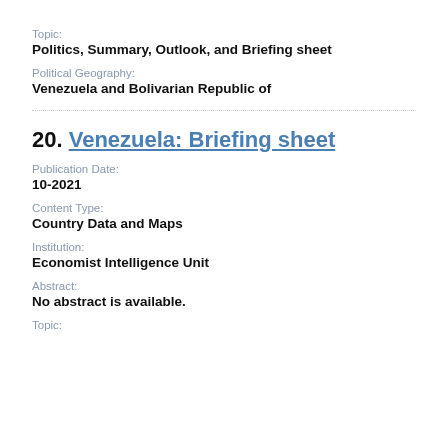Topic:
Politics, Summary, Outlook, and Briefing sheet
Political Geography:
Venezuela and Bolivarian Republic of
20. Venezuela: Briefing sheet
Publication Date:
10-2021
Content Type:
Country Data and Maps
Institution:
Economist Intelligence Unit
Abstract:
No abstract is available.
Topic: